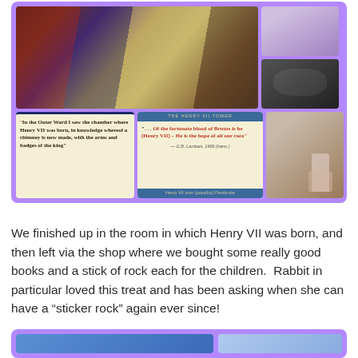[Figure (photo): A collage of photographs on a purple background showing: a large medieval costumed scene on the left, two smaller photos stacked on the upper right (one showing figurines/objects, one showing a dark stone corridor), and three images across the bottom including two informational quote cards about Henry VII and a photo of a child looking at an exhibit.]
We finished up in the room in which Henry VII was born, and then left via the shop where we bought some really good books and a stick of rock each for the children.  Rabbit in particular loved this treat and has been asking when she can have a “sticker rock” again ever since!
[Figure (photo): Partial view of two photographs on a purple background — a blue-toned image on the left and a lighter blue image on the right, cut off at the bottom of the page.]